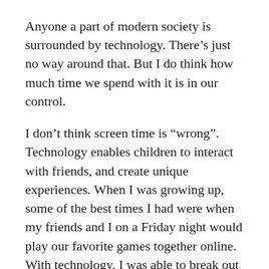Anyone a part of modern society is surrounded by technology. There’s just no way around that. But I do think how much time we spend with it is in our control.
I don’t think screen time is “wrong”. Technology enables children to interact with friends, and create unique experiences. When I was growing up, some of the best times I had were when my friends and I on a Friday night would play our favorite games together online. With technology, I was able to break out of my shell and talk to my friends about anything and everything. Screens are not a bad or good thing. They are necessary to our lifestyles in the 21st century. So, rather than limiting a now